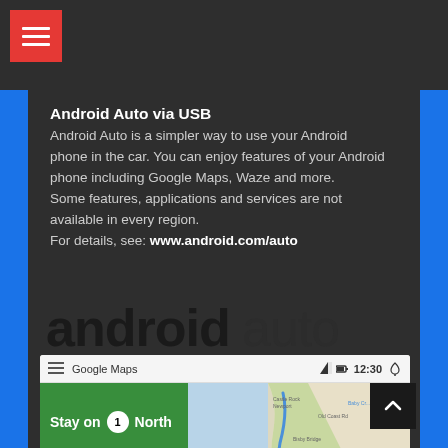[Figure (screenshot): Hamburger menu button (red background, white lines) in top-left corner]
Android Auto via USB
Android Auto is a simpler way to use your Android phone in the car. You can enjoy features of your Android phone including Google Maps, Waze and more.
Some features, applications and services are not available in every region.
For details, see: www.android.com/auto
[Figure (logo): Android Auto logo text: 'android' in bold black and 'auto' in thin black]
[Figure (screenshot): Google Maps Android Auto interface showing 'Stay on 1 North' navigation with map view, 15 mi to turn, 32 min ETA, time 12:30]